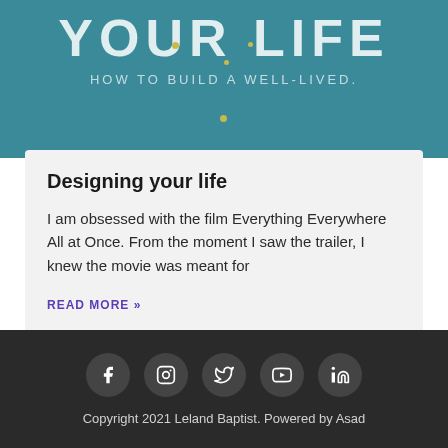[Figure (photo): Book cover showing 'YOUR LIFE' in large text over teal background with subtitle 'HOW TO BUILD A WELL-LIVED.' and small yellow dots decoration]
Designing your life
I am obsessed with the film Everything Everywhere All at Once. From the moment I saw the trailer, I knew the movie was meant for
READ MORE »
Copyright 2021 Leland Baptist. Powered by Asad